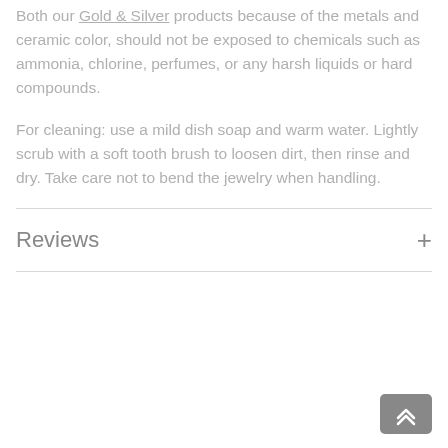Both our Gold & Silver products because of the metals and ceramic color, should not be exposed to chemicals such as ammonia, chlorine, perfumes, or any harsh liquids or hard compounds.
For cleaning: use a mild dish soap and warm water. Lightly scrub with a soft tooth brush to loosen dirt, then rinse and dry. Take care not to bend the jewelry when handling.
Reviews